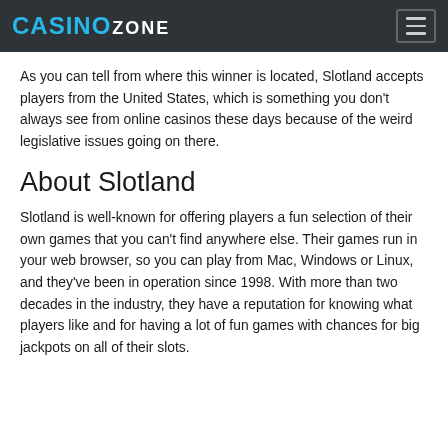CASINO ZONE
As you can tell from where this winner is located, Slotland accepts players from the United States, which is something you don't always see from online casinos these days because of the weird legislative issues going on there.
About Slotland
Slotland is well-known for offering players a fun selection of their own games that you can't find anywhere else. Their games run in your web browser, so you can play from Mac, Windows or Linux, and they've been in operation since 1998. With more than two decades in the industry, they have a reputation for knowing what players like and for having a lot of fun games with chances for big jackpots on all of their slots.